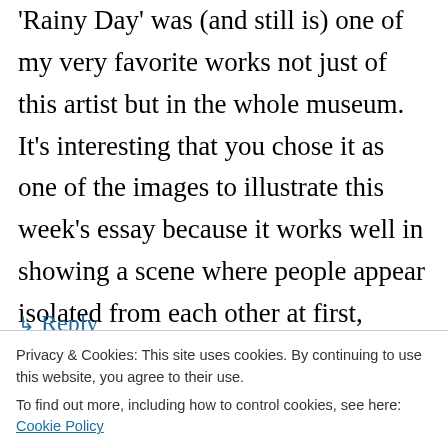'Rainy Day' was (and still is) one of my very favorite works not just of this artist but in the whole museum. It's interesting that you chose it as one of the images to illustrate this week's essay because it works well in showing a scene where people appear isolated from each other at first, experiencing the effects of a rainy day, but ultimately come together as the couple sharing an umbrella and observing and experiencing the scene as a whole.
↵ Reply
Privacy & Cookies: This site uses cookies. By continuing to use this website, you agree to their use.
To find out more, including how to control cookies, see here: Cookie Policy
Close and accept
particular angle on the painting. I was